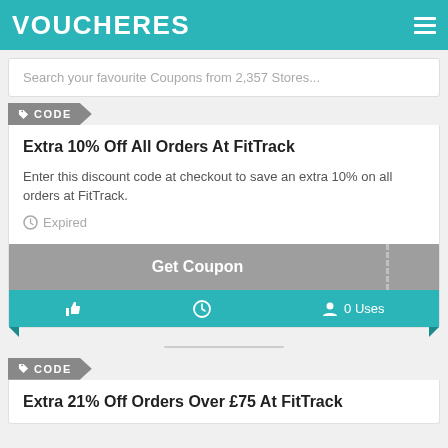VOUCHERES
Search your favourite Coupons from 2,357 Stores...
CODE
Extra 10% Off All Orders At FitTrack
Enter this discount code at checkout to save an extra 10% on all orders at FitTrack.
Expired
Get Coupon
0 Uses
CODE
Extra 21% Off Orders Over £75 At FitTrack